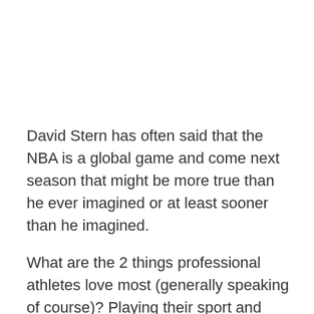David Stern has often said that the NBA is a global game and come next season that might be more true than he ever imagined or at least sooner than he imagined.
What are the 2 things professional athletes love most (generally speaking of course)? Playing their sport and making dollar bills! If they aren't able to do either do you think they might entertain the possibility of going somewhere they can?